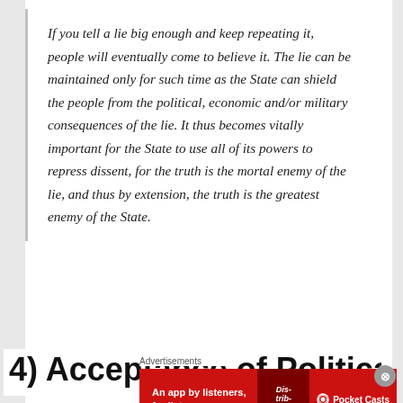If you tell a lie big enough and keep repeating it, people will eventually come to believe it. The lie can be maintained only for such time as the State can shield the people from the political, economic and/or military consequences of the lie. It thus becomes vitally important for the State to use all of its powers to repress dissent, for the truth is the mortal enemy of the lie, and thus by extension, the truth is the greatest enemy of the State.
4) Acceptance of Politically
Advertisements
[Figure (other): Advertisement banner for Pocket Casts app — red background with text 'An app by listeners, for listeners.' and Pocket Casts logo, with a phone image showing 'Distributed' text]